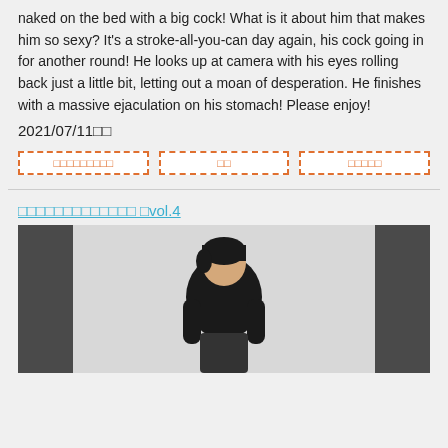naked on the bed with a big cock! What is it about him that makes him so sexy? It&#039;s a stroke-all-you-can day again, his cock going in for another round! He looks up at camera with his eyes rolling back just a little bit, letting out a moan of desperation. He finishes with a massive ejaculation on his stomach! Please enjoy!
2021/07/11□□
□□□□□□□□□
□□
□□□□□
□□□□□□□□□□□□□ □vol.4
[Figure (photo): Photo of a young Asian man with black hair wearing a black sweater, standing in a room with light-colored walls and dark vertical panels/pillars on either side.]